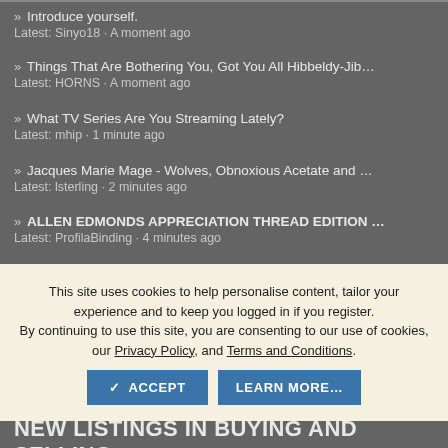» Introduce yourself.
Latest: Sinyo18 · A moment ago
» Things That Are Bothering You, Got You All Hibbeldy-Jib…
Latest: HORNS · A moment ago
» What TV Series Are You Streaming Lately?
Latest: mhip · 1 minute ago
» Jacques Marie Mage - Wolves, Obnoxious Acetate and …
Latest: lsterling · 2 minutes ago
» ALLEN EDMONDS APPRECIATION THREAD EDITION …
Latest: ProfilaBinding · 4 minutes ago
This site uses cookies to help personalise content, tailor your experience and to keep you logged in if you register.
By continuing to use this site, you are consenting to our use of cookies, our Privacy Policy, and Terms and Conditions.
» SPIER & MACKAY - Official Affiliate Thread
Latest: mlstein · 11 minutes ago
» General SWD Buy Sell Trade Thread
Latest: sipang · 11 minutes ago
NEW LISTINGS IN BUYING AND SELLING